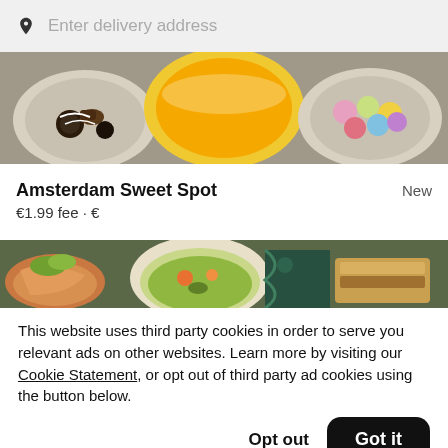Enter delivery address
[Figure (photo): Food photo showing plates of chocolates/pastries, a bowl of orange juice, and colorful macarons on a wooden table]
Amsterdam Sweet Spot
New
€1.99 fee • €
[Figure (photo): Food photo showing colorful dishes with salads, soups and various foods]
This website uses third party cookies in order to serve you relevant ads on other websites. Learn more by visiting our Cookie Statement, or opt out of third party ad cookies using the button below.
Opt out
Got it